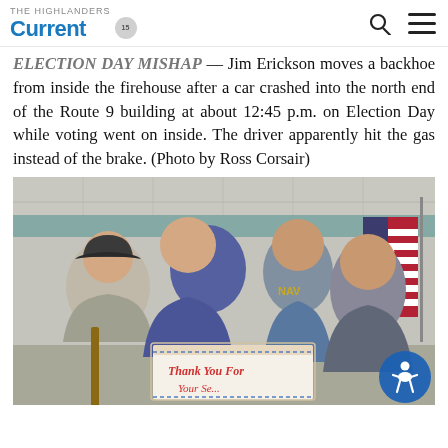The Highlanders Current
ELECTION DAY MISHAP — Jim Erickson moves a backhoe from inside the firehouse after a car crashed into the north end of the Route 9 building at about 12:45 p.m. on Election Day while voting went on inside. The driver apparently hit the gas instead of the brake. (Photo by Ross Corsair)
[Figure (photo): Four men posing indoors, one wearing a navy cap and holding a cake that reads 'Thank You For...' with an American flag in the background. A blue accessibility icon button appears in the bottom right corner.]